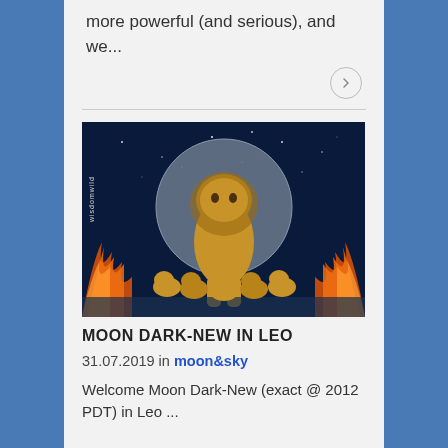more powerful (and serious), and we...
[Figure (illustration): A lioness with cubs drinking water, surrounded by flames and a large moon against a starry night sky. Watermark text 'wisdomwild' visible on left side.]
MOON DARK-NEW IN LEO
31.07.2019 in moon&sky
Welcome Moon Dark-New (exact @ 2012 PDT) in Leo ...